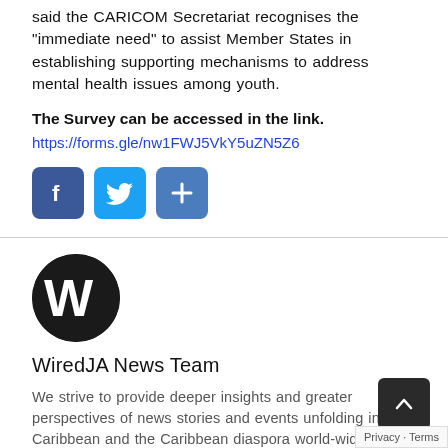said the CARICOM Secretariat recognises the “immediate need” to assist Member States in establishing supporting mechanisms to address mental health issues among youth.
The Survey can be accessed in the link.
https://forms.gle/nw1FWJ5VkY5uZN5Z6
[Figure (infographic): Three social sharing buttons: Facebook (blue square with F), Twitter (light blue square with bird icon), Share (blue square with plus sign)]
[Figure (logo): WiredJA circular logo — black circle with white bold W letter]
WiredJA News Team
We strive to provide deeper insights and greater perspectives of news stories and events unfolding in Caribbean and the Caribbean diaspora world-wide